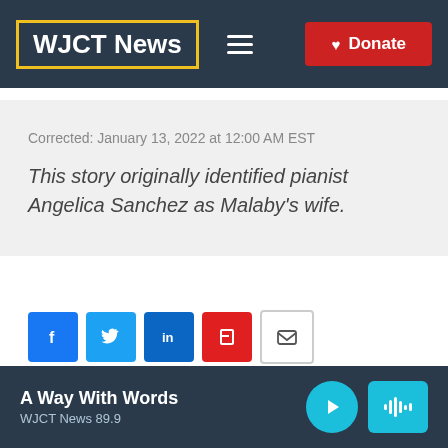WJCT News
Corrected: January 13, 2022 at 12:00 AM EST
This story originally identified pianist Angelica Sanchez as Malaby’s wife.
[Figure (other): Social sharing icons: Facebook, Twitter, LinkedIn, Flipboard, Email]
A Way With Words / WJCT News 89.9